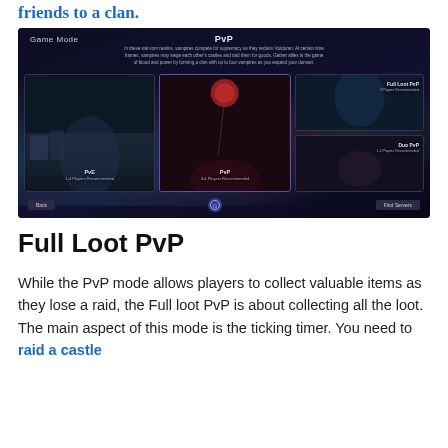friends to a clan.
[Figure (screenshot): Game Mode selection screen from V Rising showing PvP mode selected with three game mode options: PvE (1-4 Players Recommended), PvP (3-4 Players Recommended), Full Loot PvP (4 Players Recommended), and Duo PvP (1-2 Players Recommended). Dark fantasy art with vampire characters.]
Full Loot PvP
While the PvP mode allows players to collect valuable items as they lose a raid, the Full loot PvP is about collecting all the loot. The main aspect of this mode is the ticking timer. You need to raid a castle